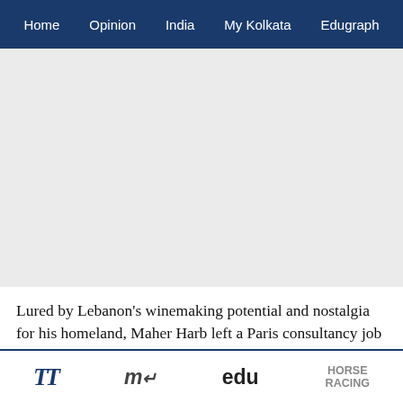Home  Opinion  India  My Kolkata  Edugraph
[Figure (other): Advertisement placeholder area (light grey background)]
Lured by Lebanon’s winemaking potential and nostalgia for his homeland, Maher Harb left a Paris consultancy job in 2010 and dug vines into the soil of family land unused since the country’s civil war.
Seven years later his September winery launched its
TT  my←  edu  HORSE RACING